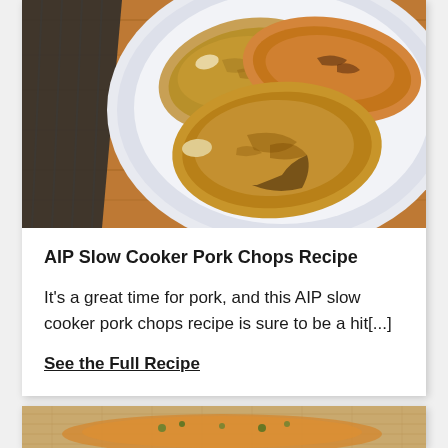[Figure (photo): A white plate with several golden-brown slow cooker pork chops, on a wooden table with a dark cloth napkin, photographed from above.]
AIP Slow Cooker Pork Chops Recipe
It's a great time for pork, and this AIP slow cooker pork chops recipe is sure to be a hit[...]
See the Full Recipe
[Figure (photo): Partial view of a second food dish, appearing to be a casserole or baked food item on a burlap surface.]